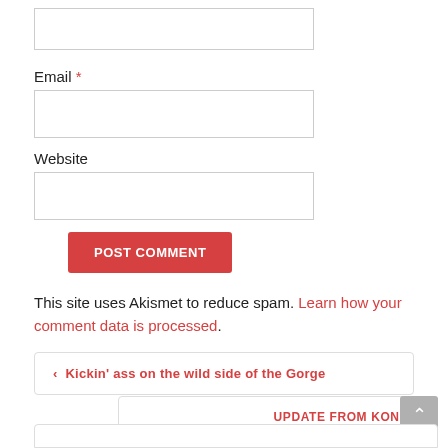[Figure (screenshot): Empty text input field for Name]
Email *
[Figure (screenshot): Empty text input field for Email]
Website
[Figure (screenshot): Empty text input field for Website]
[Figure (screenshot): POST COMMENT button in red]
This site uses Akismet to reduce spam. Learn how your comment data is processed.
‹ Kickin' ass on the wild side of the Gorge
UPDATE FROM KONA ›
[Figure (screenshot): Scroll to top button and bottom nav box]